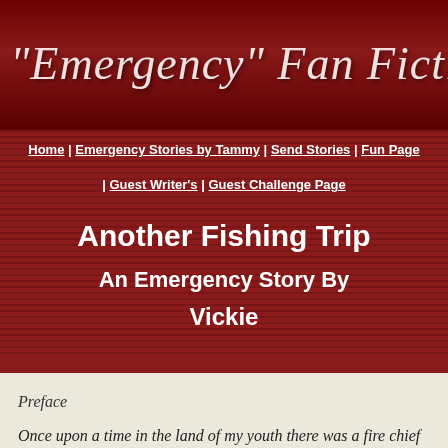"Emergency" Fan Fiction by
Home | Emergency Stories by Tammy | Send Stories | Fun Page | Guest Writer's | Guest Challenge Page
Another Fishing Trip
An Emergency Story By
Vickie
Preface
Once upon a time in the land of my youth there was a fire chief over the fire department of a very small town.